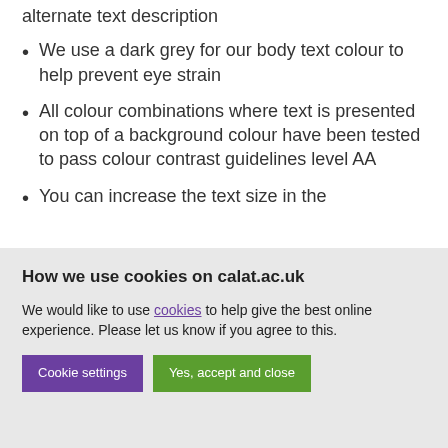alternate text description
We use a dark grey for our body text colour to help prevent eye strain
All colour combinations where text is presented on top of a background colour have been tested to pass colour contrast guidelines level AA
You can increase the text size in the
How we use cookies on calat.ac.uk
We would like to use cookies to help give the best online experience. Please let us know if you agree to this.
Cookie settings | Yes, accept and close